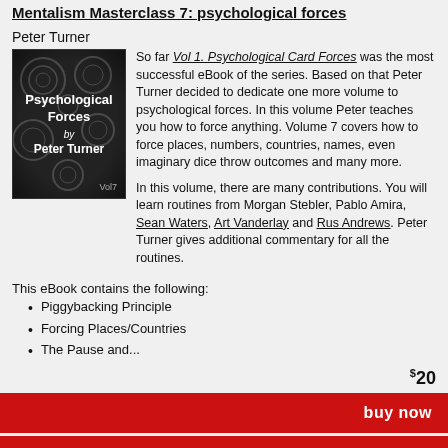Mentalism Masterclass 7: psychological forces
Peter Turner
[Figure (illustration): Book cover for 'Psychological Forces by Peter Turner Vol7' — dark background with decorative swirl pattern, white text]
So far Vol 1. Psychological Card Forces was the most successful eBook of the series. Based on that Peter Turner decided to dedicate one more volume to psychological forces. In this volume Peter teaches you how to force anything. Volume 7 covers how to force places, numbers, countries, names, even imaginary dice throw outcomes and many more.

In this volume, there are many contributions. You will learn routines from Morgan Stebler, Pablo Amira, Sean Waters, Art Vanderlay and Rus Andrews. Peter Turner gives additional commentary for all the routines.
This eBook contains the following:
Piggybacking Principle
Forcing Places/Countries
The Pause and...
$20
buy now
add to cart